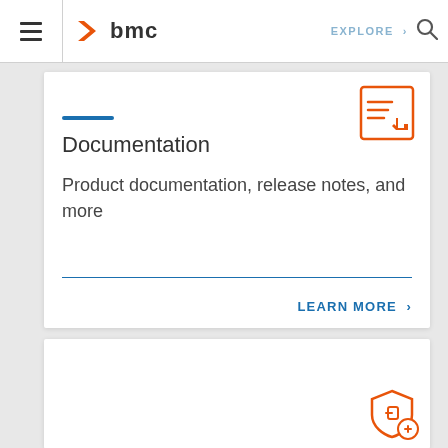BMC navigation bar with hamburger menu, BMC logo, EXPLORE link, and search icon
[Figure (logo): BMC logo with orange angular chevron and 'bmc' text in dark gray]
Documentation
Product documentation, release notes, and more
LEARN MORE >